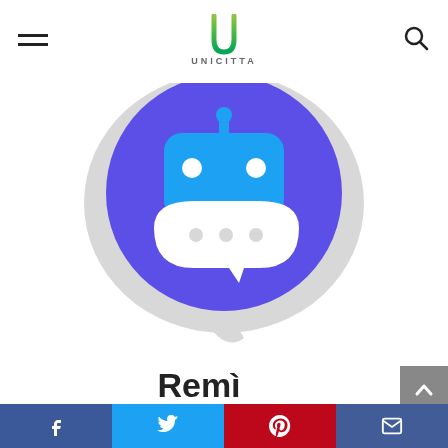UNICITTA
[Figure (illustration): Remi app icon: a large speech bubble shape in light gray with a blue-purple circular overlay containing a white chat robot icon with a speech bubble]
Remì
Controlla il prezzo su Amazon
Amazon.it